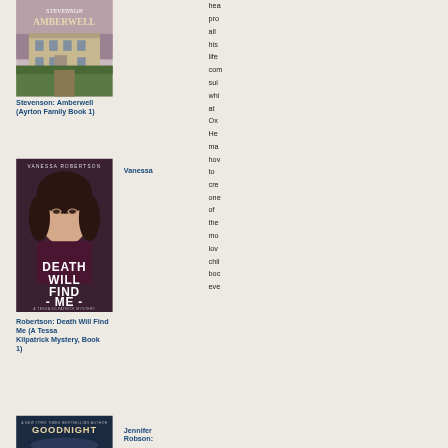[Figure (illustration): Book cover for Amberwell (Ayrton Family Book 1) by Stevenson, showing a large manor house with gardens]
Stevenson: Amberwell (Ayrton Family Book 1)
[Figure (illustration): Book cover for Death Will Find Me (A Tessa Kilpatrick Mystery, Book 1) by Vanessa Robertson, showing a woman's face in dramatic lighting]
Vanessa
Robertson: Death Will Find Me (A Tessa Kilpatrick Mystery, Book 1)
[Figure (illustration): Book cover for Goodnight [title cut off] by Jennifer Robson [cut off]]
Jennifer Robson:
hea pro all his life com sui whi at Ox He ma ho to cre one of the mo lov chil boc eve